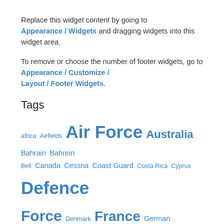Replace this widget content by going to Appearance / Widgets and dragging widgets into this widget area.
To remove or choose the number of footer widgets, go to Appearance / Customize / Layout / Footer Widgets.
Tags
africa Airfields Air Force Australia Bahrain Bahrein Bell Canada Cessna Coast Guard Costa Rica Cyprus Defence Force Denmark France German Magazines Germany Government Honduran Air Force Honduras Italy Japan